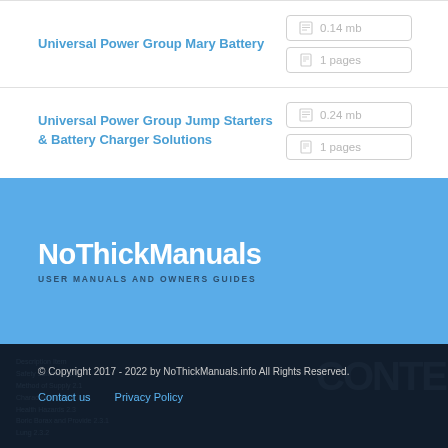Universal Power Group Mary Battery
0.14 mb
1 pages
Universal Power Group Jump Starters & Battery Charger Solutions
0.24 mb
1 pages
NoThickManuals
USER MANUALS AND OWNERS GUIDES
© Copyright 2017 - 2022 by NoThickManuals.info All Rights Reserved.
Contact us   Privacy Policy